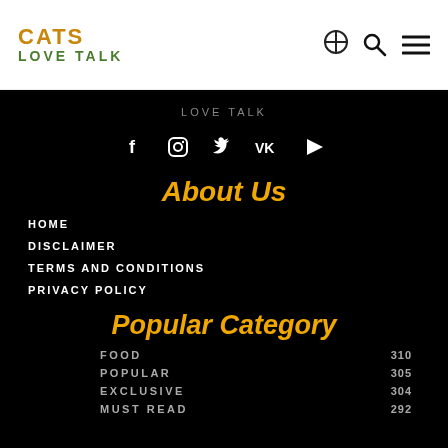CATS LOVE TALK
LOVE TALK
[Figure (other): Social media icons: Facebook, Instagram, Twitter, VK, YouTube]
About Us
HOME
DISCLAIMER
TERMS AND CONDITIONS
PRIVACY POLICY
Popular Category
| Category | Count |
| --- | --- |
| FOOD | 310 |
| POPULAR | 305 |
| EXCLUSIVE | 304 |
| MUST READ | 292 |